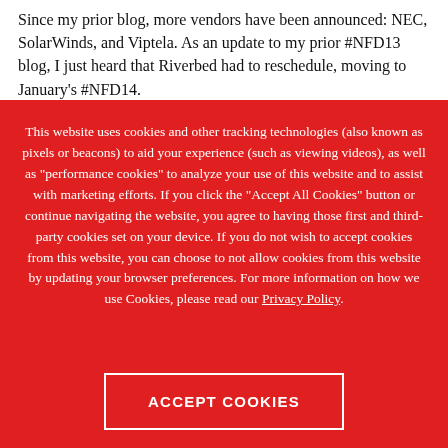Since my prior blog, more vendors have been announced: NEC, SolarWinds, and Viptela. As an update to my prior #NFD13 blog, I just heard that Riverbed had to reschedule, moving to January's #NFD14.
This website uses cookies and other tracking technologies (also known as pixels or beacons) to aid your experience (such as viewing videos), as well as "performance cookies" to analyze your use of this website and to assist with marketing efforts. If you click the "Accept All Cookies" button or continue navigating the website, you agree to having those first and third-party cookies set on your device. If you do not wish to accept cookies from this website, you can choose to not allow cookies from this website by updating your browser preferences. For more information on how we use Cookies, please read our Privacy Policy.
ACCEPT COOKIES